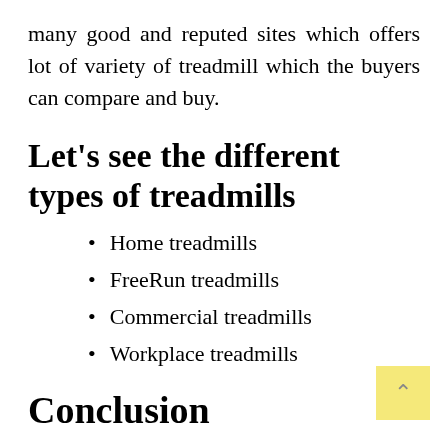many good and reputed sites which offers lot of variety of treadmill which the buyers can compare and buy.
Let's see the different types of treadmills
Home treadmills
FreeRun treadmills
Commercial treadmills
Workplace treadmills
Conclusion
People have become health conscious and